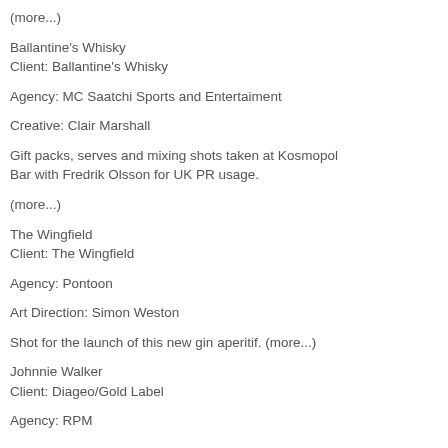(more...)
Ballantine's Whisky
Client: Ballantine's Whisky
Agency: MC Saatchi Sports and Entertaiment
Creative: Clair Marshall
Gift packs, serves and mixing shots taken at Kosmopol Bar with Fredrik Olsson for UK PR usage.
(more...)
The Wingfield
Client: The Wingfield
Agency: Pontoon
Art Direction: Simon Weston
Shot for the launch of this new gin aperitif. (more...)
Johnnie Walker
Client: Diageo/Gold Label
Agency: RPM